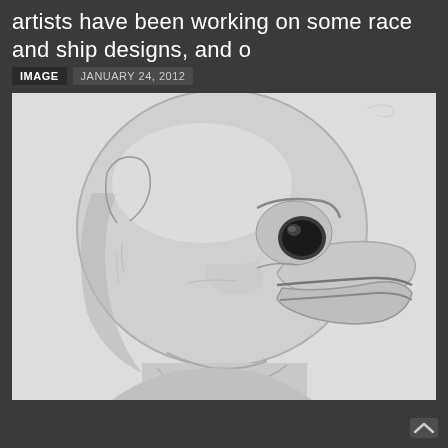artists have been working on some race and ship designs, and o
IMAGE   JANUARY 24, 2012
[Figure (illustration): Pencil sketch of an alien or creature head, resembling a bird or reptile with a large round cranium, dark eye, beak-like mouth, and neck/body visible below. Drawn in graphite on light paper, black and white.]